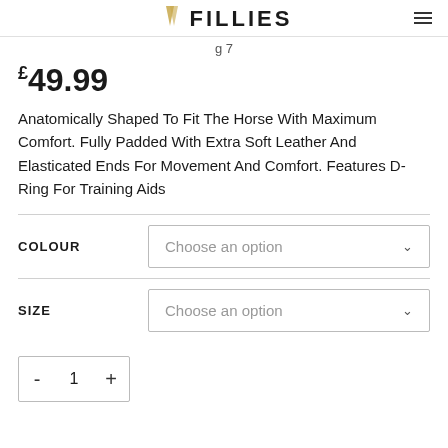FILLIES
£49.99
Anatomically Shaped To Fit The Horse With Maximum Comfort. Fully Padded With Extra Soft Leather And Elasticated Ends For Movement And Comfort. Features D-Ring For Training Aids
COLOUR — Choose an option
SIZE — Choose an option
- 1 +